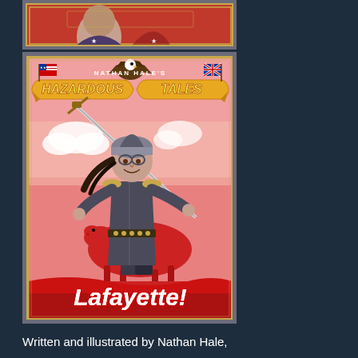[Figure (illustration): Top portion of a book cover (partially cropped), showing a red background with decorative border, part of Nathan Hale's Hazardous Tales series]
[Figure (illustration): Book cover for 'Nathan Hale's Hazardous Tales: Lafayette!' showing a soldier character wielding a sword on horseback with American and British flags, an eagle, and gold banner reading 'Hazardous Tales'. The title 'Lafayette!' is in large white italic script at the bottom. Cover has a gold decorative border on gray background.]
Written and illustrated by Nathan Hale,